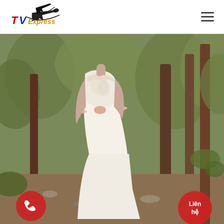[Figure (logo): TVExpress logo with airplane graphic, colorful text in red, blue, and yellow on white background]
[Figure (photo): Woman in a white/ivory lace wedding dress with a floral waist bow, standing outdoors in a wooded/nature setting with trees and dry brush in the background]
[Figure (other): Red circular phone call button in the bottom-left corner of the main image]
[Figure (other): Red circular contact button labeled 'Lien he' in the bottom-right corner of the main image]